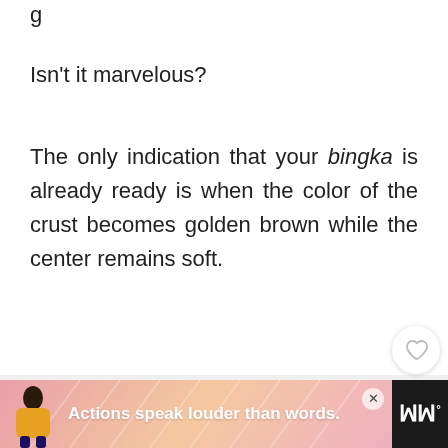g
Isn't it marvelous?
The only indication that your bingka is already ready is when the color of the crust becomes golden brown while the center remains soft.
[Figure (photo): Light gray placeholder image area for a photo of bingka]
[Figure (screenshot): UI overlay: heart/like button, share button with count 4, and What's Next card showing 25 Pumpkin Desserts At...]
[Figure (infographic): Bottom advertisement banner with pink/coral gradient background, person illustration, text 'Actions speak louder than words.' and Mw logo]